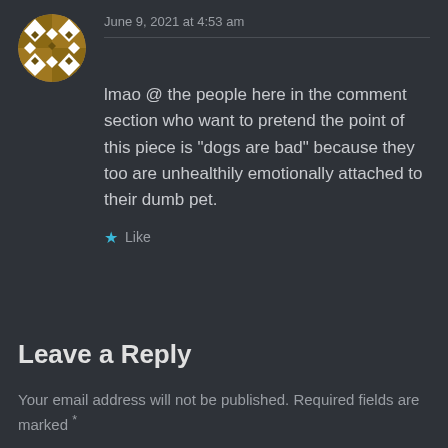[Figure (illustration): Circular avatar with brown and white checkered/diamond pattern on dark background]
June 9, 2021 at 4:53 am
lmao @ the people here in the comment section who want to pretend the point of this piece is “dogs are bad” because they too are unhealthily emotionally attached to their dumb pet.
★ Like
Leave a Reply
Your email address will not be published. Required fields are marked *